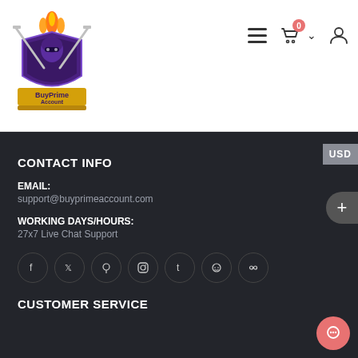[Figure (logo): BuyPrime Account logo — purple ninja/warrior figure with flames above a shield, crossed swords, text 'BuyPrime Account' on gold banner]
[Figure (infographic): Navigation icons: hamburger menu, shopping cart with orange badge '0', chevron dropdown, user profile icon]
CONTACT INFO
EMAIL:
support@buyprimeaccount.com
WORKING DAYS/HOURS:
27x7 Live Chat Support
[Figure (infographic): Social media icons row: Facebook, Twitter, Pinterest, Instagram, Tumblr, Reddit, Flickr — each in a dark circle outline]
CUSTOMER SERVICE